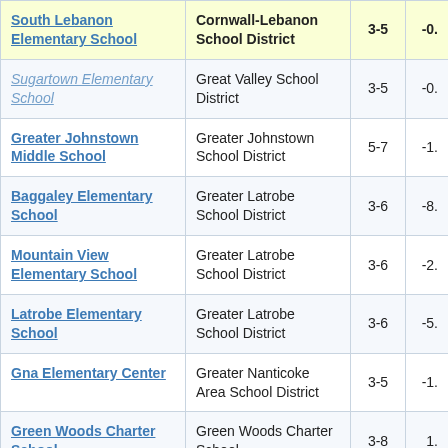| School | District | Grades | Value |
| --- | --- | --- | --- |
| South Lebanon Elementary School | Cornwall-Lebanon School District | 3-5 | -0. |
| Sugartown Elementary School | Great Valley School District | 3-5 | -0. |
| Greater Johnstown Middle School | Greater Johnstown School District | 5-7 | -1. |
| Baggaley Elementary School | Greater Latrobe School District | 3-6 | -8. |
| Mountain View Elementary School | Greater Latrobe School District | 3-6 | -2. |
| Latrobe Elementary School | Greater Latrobe School District | 3-6 | -5. |
| Gna Elementary Center | Greater Nanticoke Area School District | 3-5 | -1. |
| Green Woods Charter School | Green Woods Charter School | 3-8 | 1. |